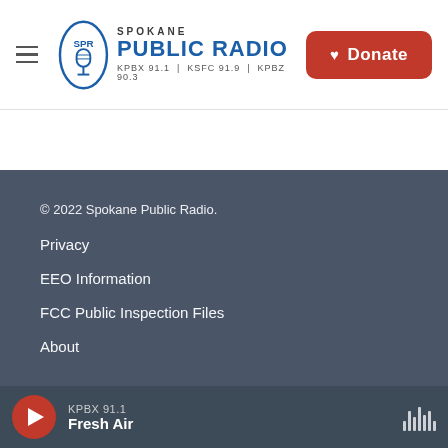Spokane Public Radio — KPBX 91.1 | KSFC 91.9 | KPBZ 90.3 | Donate
© 2022 Spokane Public Radio.
Privacy
EEO Information
FCC Public Inspection Files
About
KPBX 91.1 Fresh Air